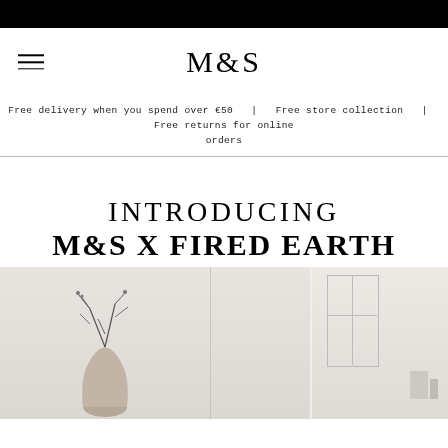[Figure (screenshot): Black top navigation bar]
[Figure (logo): M&S logo with hamburger menu icon in website header]
Free delivery when you spend over €50  |  Free store collection  |  Free returns for online orders
INTRODUCING M&S X FIRED EARTH
[Figure (photo): Interior home decor photo showing minimalist white rooms with a vase containing dried branches and architectural details, split into two panels]